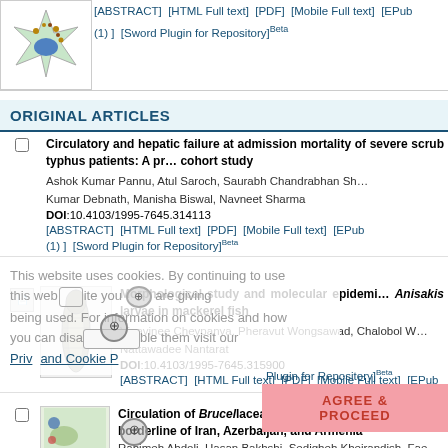[Figure (illustration): Star-shaped cell illustration (top left thumbnail)]
[ABSTRACT]  [HTML Full text]  [PDF]  [Mobile Full text]  [EPub]  (1) ]  [Sword Plugin for Repository]Beta
ORIGINAL ARTICLES
Circulatory and hepatic failure at admission mortality of severe scrub typhus patients: A prospective cohort study
Ashok Kumar Pannu, Atul Saroch, Saurabh Chandrabhan Sh... Kumar Debnath, Manisha Biswal, Navneet Sharma
DOI:10.4103/1995-7645.314113
[ABSTRACT]  [HTML Full text]  [PDF]  [Mobile Full text]  [EPub]
(1) ]  [Sword Plugin for Repository]Beta
Morphological study and molecular epidemiology of Anisakis larvae in mackerel fish
Vipavinee Cheypanya, Pheravut Wongsawad, Chalobol W... Nattawadee Nantarat
DOI:10.4103/1995-7645.315900
[ABSTRACT]  [HTML Full text]  [PDF]  [Mobile Full text]  [EPub]
Plugin for Repository]Beta
Circulation of Brucellaceae, Anaplasma and Ehrlichia in borderline of Iran, Azerbaijan, and Armenia
Rahimeh Abdoli, Hasan Bakhshi, Sedigheh Kheirandish, Fae...
This website uses cookies. By continuing to use this website you are giving consent to cookies being used. For information on cookies and how you can disable them visit our
Privacy and Cookie Policy
AGREE & PROCEED